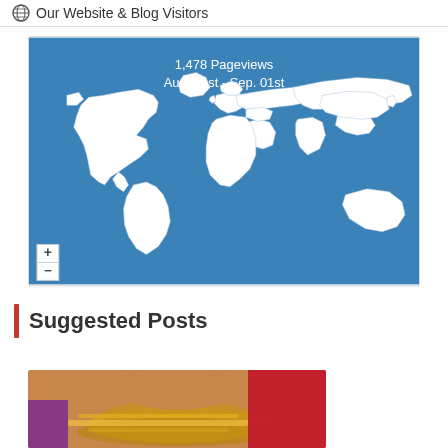Our Website & Blog Visitors
[Figure (map): World map with blue background showing white country outlines. Text overlay reads '1,478 Pageviews Aug. 01st - Sep. 01st'. Map has + and - zoom controls in bottom left.]
Suggested Posts
[Figure (photo): Photo of a person in traditional South Asian clothing with ornate gold jewelry and colorful fabrics visible.]